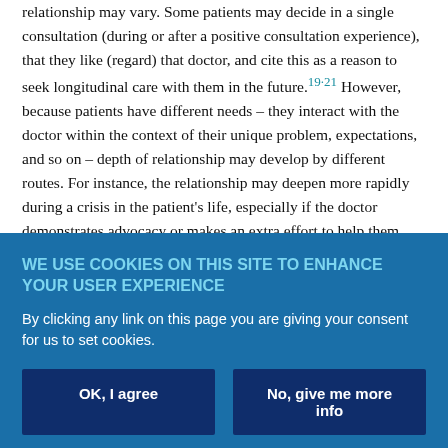relationship may vary. Some patients may decide in a single consultation (during or after a positive consultation experience), that they like (regard) that doctor, and cite this as a reason to seek longitudinal care with them in the future.19·21 However, because patients have different needs – they interact with the doctor within the context of their unique problem, expectations, and so on – depth of relationship may develop by different routes. For instance, the relationship may deepen more rapidly during a crisis in the patient's life, especially if the doctor demonstrates advocacy or makes an extra effort to help them through a problem.16·22·25
Some aspects of the depth of patient–doctor relationships may be
WE USE COOKIES ON THIS SITE TO ENHANCE YOUR USER EXPERIENCE
By clicking any link on this page you are giving your consent for us to set cookies.
OK, I agree
No, give me more info